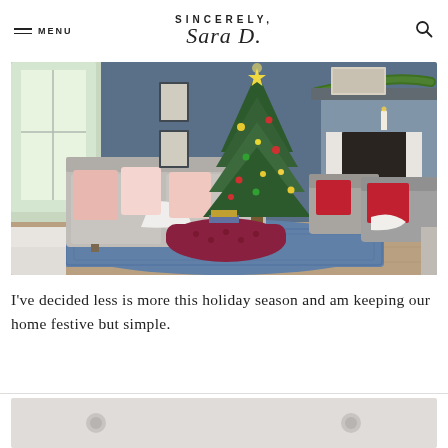SINCERELY, Sara D.
[Figure (photo): Holiday decorated living room with grey sofas, a Christmas tree with colorful ornaments, a fireplace with garland, a burgundy tufted ottoman, and a blue rug]
I've decided less is more this holiday season and am keeping our home festive but simple.
[Figure (photo): Partially visible photo at bottom of page, light gray background with two small objects visible]